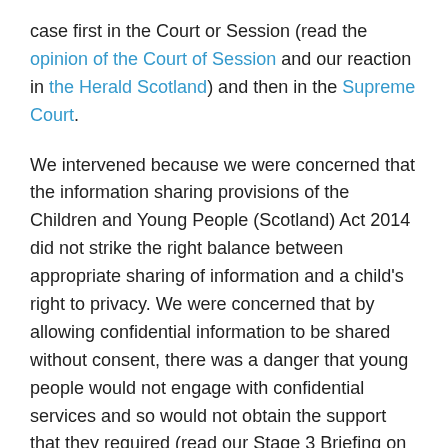case first in the Court or Session (read the opinion of the Court of Session and our reaction in the Herald Scotland) and then in the Supreme Court.
We intervened because we were concerned that the information sharing provisions of the Children and Young People (Scotland) Act 2014 did not strike the right balance between appropriate sharing of information and a child's right to privacy. We were concerned that by allowing confidential information to be shared without consent, there was a danger that young people would not engage with confidential services and so would not obtain the support that they required (read our Stage 3 Briefing on Information Sharing here).
You can read our Intervention in the Supreme Court case here. In its judgment on 28 July 2016 the Supreme Court determined that the information sharing provisions